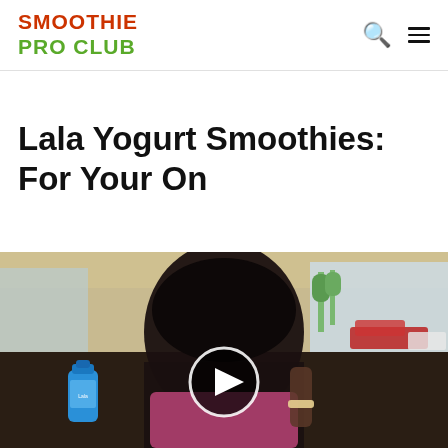SMOOTHIE PRO CLUB
Lala Yogurt Smoothies: For Your On
[Figure (photo): A woman sitting in a car holding a blue bottle (Lala yogurt smoothie), with a video play button overlay in the center of the image. The car interior is visible with a window showing a parking lot outside.]